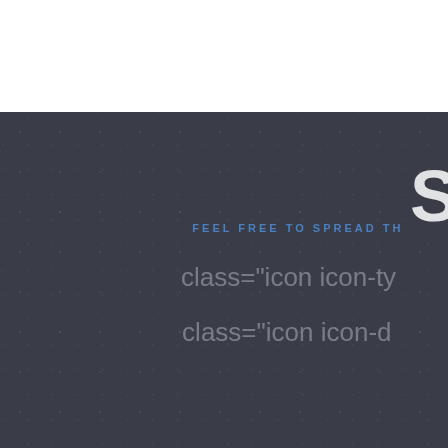S
FEEL FREE TO SPREAD TH
class="icon icon-ty
class="icon icon-d